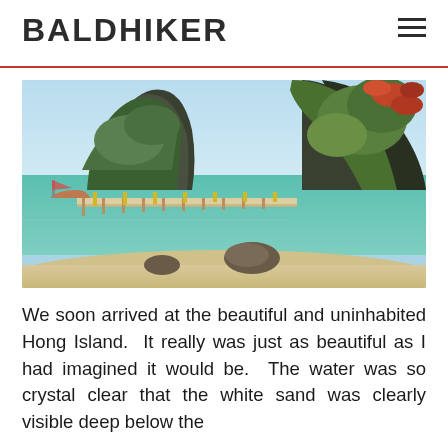BALDHIKER
[Figure (photo): Tropical beach scene at Hong Island with crystal clear turquoise water, a wooden pier/walkway, large limestone cliffs covered in lush green vegetation, red-leafed plant in upper right corner, and rocks on the sandy beach in the foreground.]
We soon arrived at the beautiful and uninhabited Hong Island.  It really was just as beautiful as I had imagined it would be.  The water was so crystal clear that the white sand was clearly visible deep below the